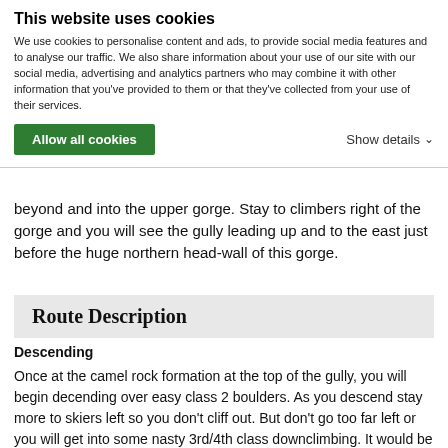This website uses cookies
We use cookies to personalise content and ads, to provide social media features and to analyse our traffic. We also share information about your use of our site with our social media, advertising and analytics partners who may combine it with other information that you've provided to them or that they've collected from your use of their services.
Allow all cookies   Show details
beyond and into the upper gorge. Stay to climbers right of the gorge and you will see the gully leading up and to the east just before the huge northern head-wall of this gorge.
Route Description
Descending
Once at the camel rock formation at the top of the gully, you will begin decending over easy class 2 boulders. As you descend stay more to skiers left so you don't cliff out. But don't go too far left or you will get into some nasty 3rd/4th class downclimbing. It would be better to drop